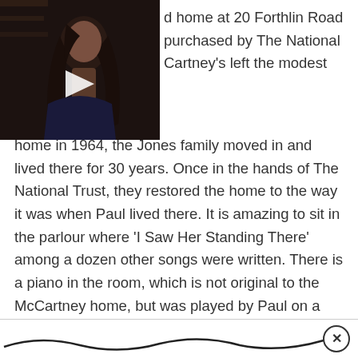[Figure (screenshot): Video thumbnail showing a person with long dark hair, dark background, with a white play button triangle overlay in the center]
d home at 20 Forthlin Road purchased by The National Cartney's left the modest home in 1964, the Jones family moved in and lived there for 30 years. Once in the hands of The National Trust, they restored the home to the way it was when Paul lived there. It is amazing to sit in the parlour where 'I Saw Her Standing There' among a dozen other songs were written. There is a piano in the room, which is not original to the McCartney home, but was played by Paul on a trip through Liverpool with James Corden last summer.